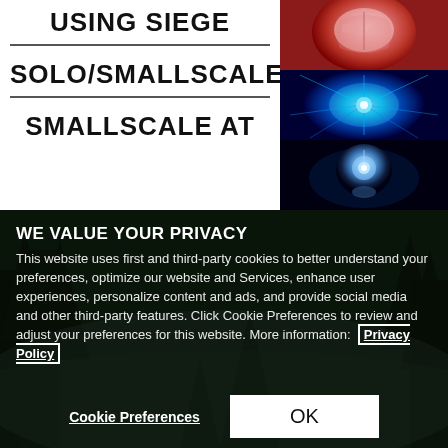[Figure (illustration): Expanding brain meme template top section. Left white panel shows bold black text: USING SIEGE, SOLO/SMALLSCALE, SMALLSCALE AT. Right side shows three stacked brain images: top with reddish glowing brain, middle with blue electric brain, bottom with cosmic glowing brain.]
WE VALUE YOUR PRIVACY
This website uses first and third-party cookies to better understand your preferences, optimize our website and Services, enhance user experiences, personalize content and ads, and provide social media and other third-party features. Click Cookie Preferences to review and adjust your preferences for this website. More information:  Privacy Policy
Cookie Preferences
OK